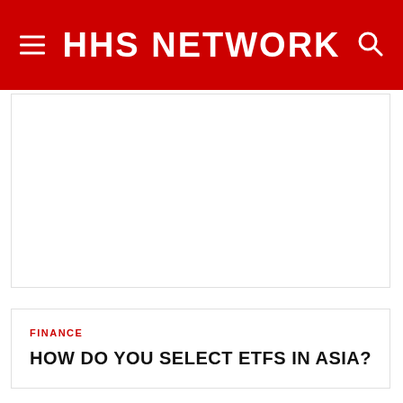HHS NETWORK
FINANCE
HOW DO YOU SELECT ETFS IN ASIA?